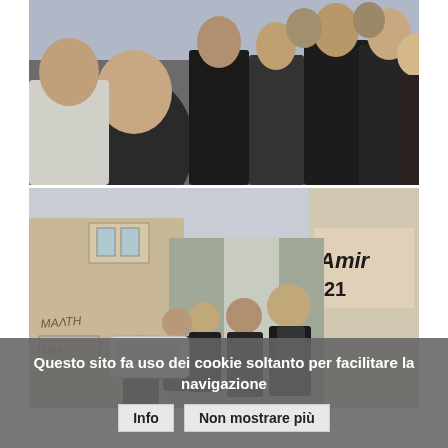[Figure (photo): Group of people standing together outdoors, viewed from behind, wearing dark formal clothing, some appear to be at an event or tour.]
[Figure (photo): A narrow urban alleyway with graffiti-covered walls. A group of people dressed in dark clothing walk away down the street. Buildings are old and weathered, a white car is parked on the left.]
Questo sito fa uso dei cookie soltanto per facilitare la navigazione